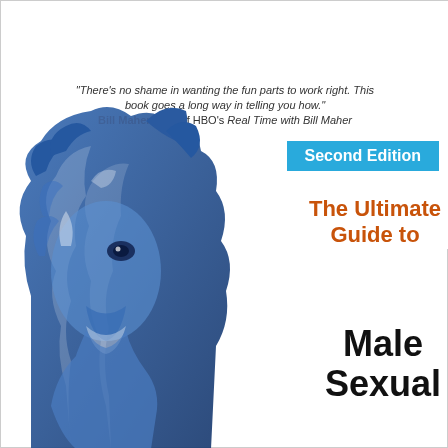Receive your Baltimore OUTLoud news right to your Inbox!
Subscribe
[Figure (screenshot): Book cover of 'The Ultimate Guide to Male Sexual...' Second Edition, featuring a blue stylized lion head graphic. Includes a quote from Bill Maher: 'There's no shame in wanting the fun parts to work right. This book goes a long way in telling you how.']